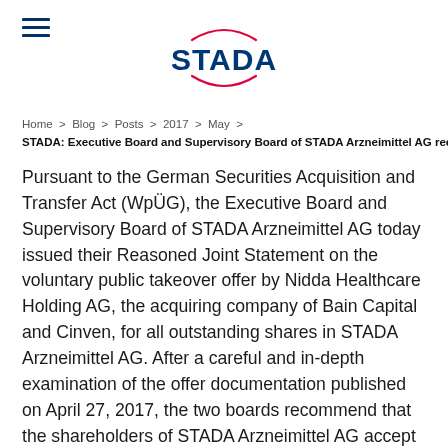[Figure (logo): STADA logo with blue text and red arc beneath]
Home > Blog > Posts > 2017 > May > STADA: Executive Board and Supervisory Board of STADA Arzneimittel AG reco
Pursuant to the German Securities Acquisition and Transfer Act (WpÜG), the Executive Board and Supervisory Board of STADA Arzneimittel AG today issued their Reasoned Joint Statement on the voluntary public takeover offer by Nidda Healthcare Holding AG, the acquiring company of Bain Capital and Cinven, for all outstanding shares in STADA Arzneimittel AG. After a careful and in-depth examination of the offer documentation published on April 27, 2017, the two boards recommend that the shareholders of STADA Arzneimittel AG accept the offer because it is in the best interests of the Company and its stakeholders.